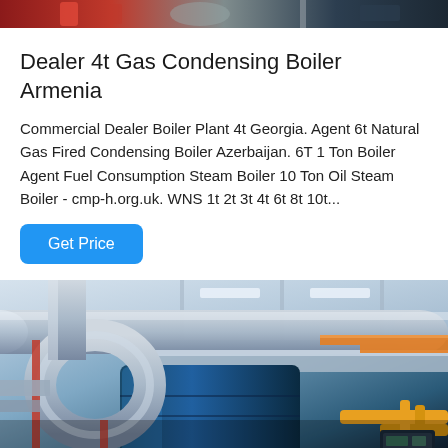[Figure (photo): Top portion of industrial boiler equipment, red/dark machinery visible at top of page]
Dealer 4t Gas Condensing Boiler Armenia
Commercial Dealer Boiler Plant 4t Georgia. Agent 6t Natural Gas Fired Condensing Boiler Azerbaijan. 6T 1 Ton Boiler Agent Fuel Consumption Steam Boiler 10 Ton Oil Steam Boiler - cmp-h.org.uk. WNS 1t 2t 3t 4t 6t 8t 10t...
[Figure (illustration): Get Price button - blue rounded rectangle button with white text]
[Figure (photo): Industrial boiler room with silver insulated pipes, blue boiler unit, orange pipes, and equipment visible from below]